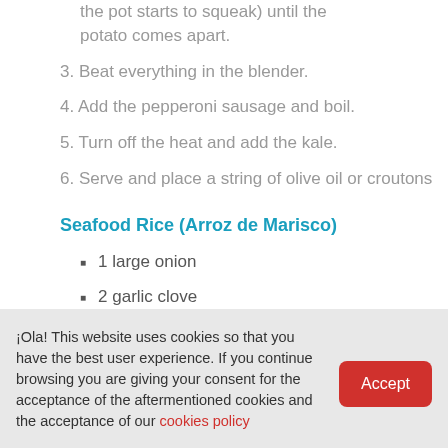the pot starts to squeak) until the potato comes apart.
3. Beat everything in the blender.
4. Add the pepperoni sausage and boil.
5. Turn off the heat and add the kale.
6. Serve and place a string of olive oil or croutons
Seafood Rice (Arroz de Marisco)
1 large onion
2 garlic clove
¡Ola! This website uses cookies so that you have the best user experience. If you continue browsing you are giving your consent for the acceptance of the aftermentioned cookies and the acceptance of our cookies policy